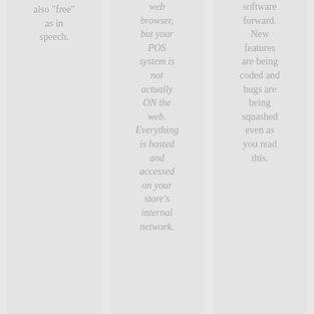also “free” as in speech.
web browser, but your POS system is not actually ON the web. Everything is hosted and accessed on your store’s internal network.
software forward. New features are being coded and bugs are being squashed even as you read this.